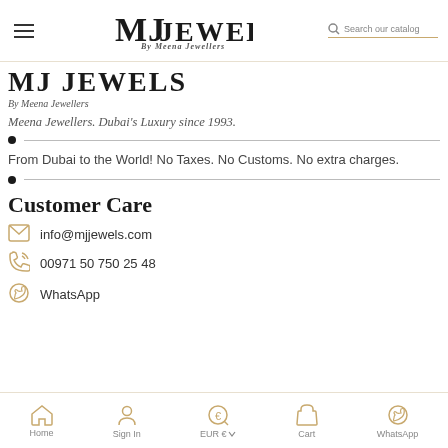MJ Jewels By Meena Jewellers Dubai's Luxury since 1993 | Search our catalog
[Figure (logo): MJ Jewels logo - large bold serif text with 'By Meena Jewellers' subtitle]
Meena Jewellers. Dubai's Luxury since 1993.
From Dubai to the World! No Taxes. No Customs. No extra charges.
Customer Care
info@mjjewels.com
00971 50 750 25 48
WhatsApp
Home | Sign In | EUR € | Cart | WhatsApp